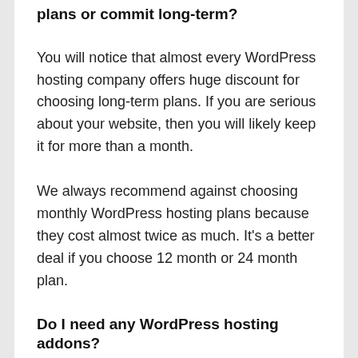plans or commit long-term?
You will notice that almost every WordPress hosting company offers huge discount for choosing long-term plans. If you are serious about your website, then you will likely keep it for more than a month.
We always recommend against choosing monthly WordPress hosting plans because they cost almost twice as much. It's a better deal if you choose 12 month or 24 month plan.
Do I need any WordPress hosting addons?
Often WordPress hosting companies will try to upsell you on a wide-variety of services such as drag-and-drop website builder, professional email, SEO tools,